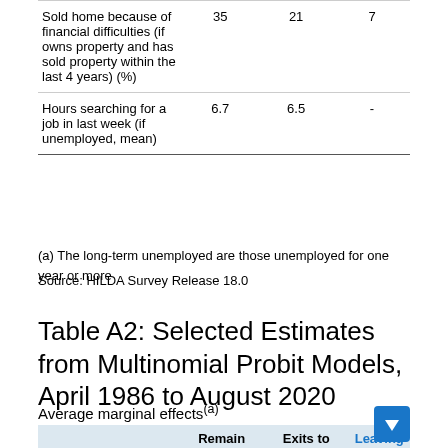|  |  |  |  |
| --- | --- | --- | --- |
| Sold home because of financial difficulties (if owns property and has sold property within the last 4 years) (%) | 35 | 21 | 7 |
| Hours searching for a job in last week (if unemployed, mean) | 6.7 | 6.5 | - |
(a) The long-term unemployed are those unemployed for one year or more
Source: HILDA Survey Release 18.0
Table A2: Selected Estimates from Multinomial Probit Models, April 1986 to August 2020
Average marginal effects(a)
|  | Remain unemployed | Exits to employment | Leaving the labour force |
| --- | --- | --- | --- |
| Sex (base category: male) |  |  |  |